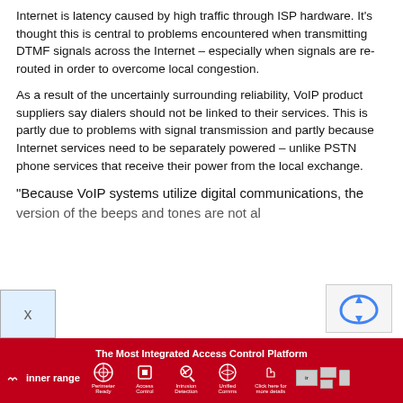Internet is latency caused by high traffic through ISP hardware. It's thought this is central to problems encountered when transmitting DTMF signals across the Internet – especially when signals are re-routed in order to overcome local congestion.
As a result of the uncertainly surrounding reliability, VoIP product suppliers say dialers should not be linked to their services. This is partly due to problems with signal transmission and partly because Internet services need to be separately powered – unlike PSTN phone services that receive their power from the local exchange.
“Because VoIP systems utilize digital communications, the version of the beeps and tones are not al...
[Figure (infographic): Bottom advertisement banner for Inner Range: 'The Most Integrated Access Control Platform' with red background, icons for various features, click here for more details button, and device preview images.]